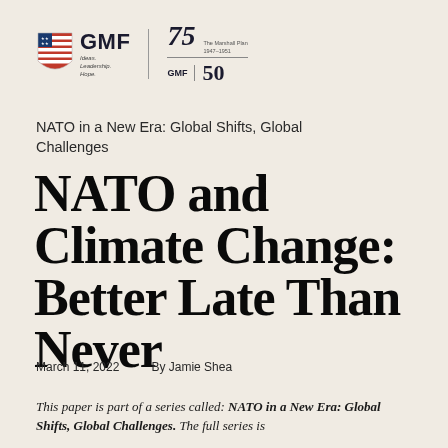[Figure (logo): GMF (German Marshall Fund) logo with shield icon showing stars and stripes, tagline 'Ideas. Leadership. Hope.' alongside anniversary markers: 75 (The Marshall Plan 1947-1951) and GMF 50]
NATO in a New Era: Global Shifts, Global Challenges
NATO and Climate Change: Better Late Than Never
March 11, 2022     By Jamie Shea
This paper is part of a series called: NATO in a New Era: Global Shifts, Global Challenges. The full series is